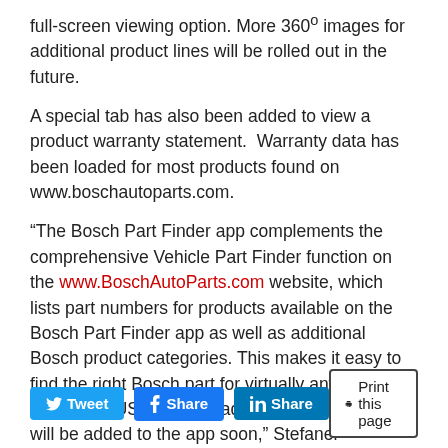full-screen viewing option. More 360º images for additional product lines will be rolled out in the future.
A special tab has also been added to view a product warranty statement.  Warranty data has been loaded for most products found on www.boschautoparts.com.
“The Bosch Part Finder app complements the comprehensive Vehicle Part Finder function on the www.BoschAutoParts.com website, which lists part numbers for products available on the Bosch Part Finder app as well as additional Bosch product categories. This makes it easy to find the right Bosch part for virtually any vehicle sold in the USA and Canada.  More product lines will be added to the app soon,” Stefaner indicated.